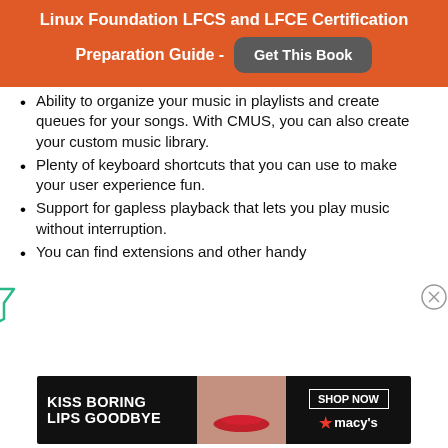Linux Foundation LFCS and LFCE Certification Preparation Guide - Get This Book
Ability to organize your music in playlists and create queues for your songs. With CMUS, you can also create your custom music library.
Plenty of keyboard shortcuts that you can use to make your user experience fun.
Support for gapless playback that lets you play music without interruption.
You can find extensions and other handy
[Figure (infographic): Advertisement banner: KISS BORING LIPS GOODBYE with SHOP NOW and macy's logo]